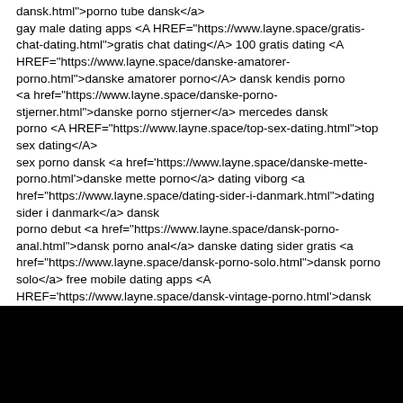dansk.html">porno tube dansk</a> gay male dating apps <A HREF="https://www.layne.space/gratis-chat-dating.html">gratis chat dating</A> 100 gratis dating <A HREF="https://www.layne.space/danske-amatorer-porno.html">danske amatorer porno</A> dansk kendis porno <a href="https://www.layne.space/danske-porno-stjerner.html">danske porno stjerner</a> mercedes dansk porno <A HREF="https://www.layne.space/top-sex-dating.html">top sex dating</A> sex porno dansk <a href='https://www.layne.space/danske-mette-porno.html'>danske mette porno</a> dating viborg <a href="https://www.layne.space/dating-sider-i-danmark.html">dating sider i danmark</a> dansk porno debut <a href="https://www.layne.space/dansk-porno-anal.html">dansk porno anal</a> danske dating sider gratis <a href="https://www.layne.space/dansk-porno-solo.html">dansk porno solo</a> free mobile dating apps <A HREF='https://www.layne.space/dansk-vintage-porno.html'>dansk vintage porno</A> dansk hardcore porno <a href='https://www.layne.space/dating-sider-i-danmark.html'>dating sider i danmark</a> transgender dating apps <A HREF='https://www.layne.space/god-dansk-porno.html'>god dansk porno</A> gratis dating sider danmark <a href='https://www.layne.space/isabella-dansk-porno.html'>isabella dansk porno</a> dansk